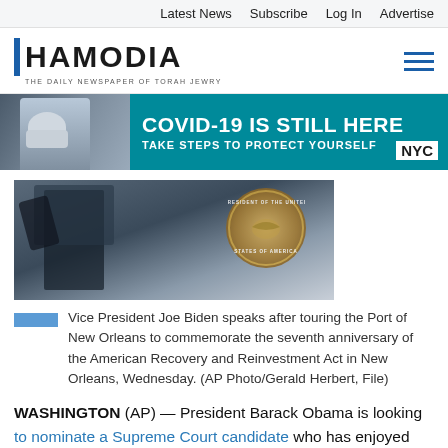Latest News   Subscribe   Log In   Advertise
[Figure (logo): Hamodia logo — blue vertical bar, bold HAMODIA text, tagline: THE DAILY NEWSPAPER OF TORAH JEWRY]
[Figure (photo): COVID-19 IS STILL HERE / TAKE STEPS TO PROTECT YOURSELF — NYC ad banner with masked person on phone]
[Figure (photo): Vice President Joe Biden speaking at a podium with a presidential seal visible]
Vice President Joe Biden speaks after touring the Port of New Orleans to commemorate the seventh anniversary of the American Recovery and Reinvestment Act in New Orleans, Wednesday. (AP Photo/Gerald Herbert, File)
WASHINGTON (AP) — President Barack Obama is looking to nominate a Supreme Court candidate who has enjoyed past Republican support, Vice President Joe Biden said, offering some of the first indications of the president's